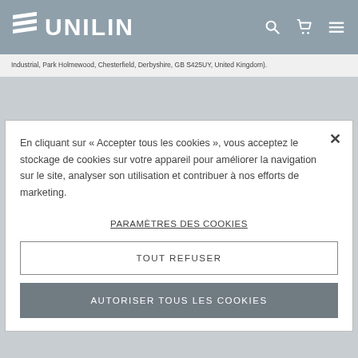UNILIN
Industrial, Park Holmewood, Chesterfield, Derbyshire, GB S425UY, United Kingdom).
En cliquant sur « Accepter tous les cookies », vous acceptez le stockage de cookies sur votre appareil pour améliorer la navigation sur le site, analyser son utilisation et contribuer à nos efforts de marketing.
PARAMÈTRES DES COOKIES
TOUT REFUSER
AUTORISER TOUS LES COOKIES